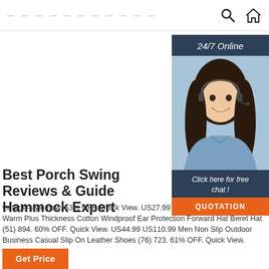— — — — — — — — — — — — — —
[Figure (illustration): 24/7 Online chat support widget with a woman wearing a headset, dark navy header saying '24/7 Online', click here for free chat text, and an orange QUOTATION button]
Best Porch Swing Reviews & Guide Hammock Expert
vintage-style-new. 53% OFF. Quick View. US27.99 US Genuine Leather Keep Warm Plus Thickness Cotton Windproof Ear Protection Forward Hat Beret Hat (51) 894. 60% OFF. Quick View. US44.99 US110.99 Men Non Slip Outdoor Business Casual Slip On Leather Shoes (76) 723. 61% OFF. Quick View.
Get Price